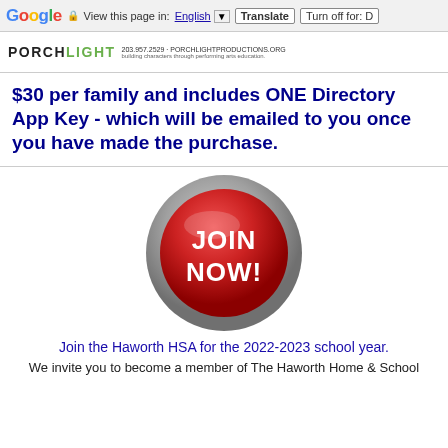Google — View this page in: English [▼] Translate Turn off for: D
[Figure (logo): Porchlight Productions logo with tagline 'building characters through performing arts education']
$30 per family and includes ONE Directory App Key - which will be emailed to you once you have made the purchase.
[Figure (illustration): Red circular JOIN NOW! button with grey metallic outer ring]
Join the Haworth HSA for the 2022-2023 school year.
We invite you to become a member of The Haworth Home & School